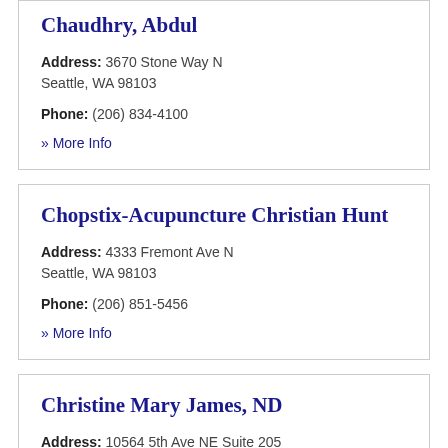Chaudhry, Abdul
Address: 3670 Stone Way N Seattle, WA 98103
Phone: (206) 834-4100
» More Info
Chopstix-Acupuncture Christian Hunt
Address: 4333 Fremont Ave N Seattle, WA 98103
Phone: (206) 851-5456
» More Info
Christine Mary James, ND
Address: 10564 5th Ave NE Suite 205